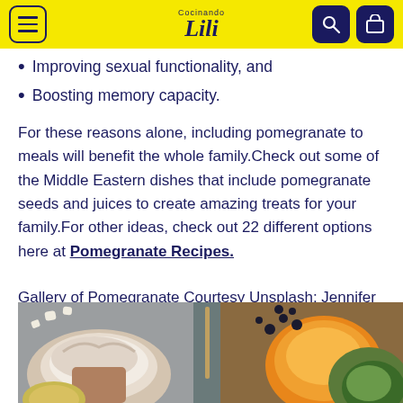Cocinando Lili — navigation header
Improving sexual functionality, and
Boosting memory capacity.
For these reasons alone, including pomegranate to meals will benefit the whole family.Check out some of the Middle Eastern dishes that include pomegranate seeds and juices to create amazing treats for your family.For other ideas, check out 22 different options here at Pomegranate Recipes.
Gallery of Pomegranate Courtesy Unsplash: Jennifer Pallian; Lavi Perchik and Sara Cervera.
[Figure (photo): Photo of food items including what appears to be ice cream or coconut-based dishes and fruits on a dark surface]